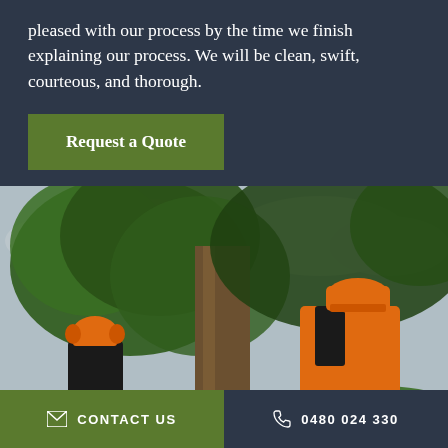pleased with our process by the time we finish explaining our process. We will be clean, swift, courteous, and thorough.
Request a Quote
[Figure (photo): Two tree surgeons/arborists in orange safety helmets and harnesses standing near a large tree, viewed from behind, with a cloudy sky and green foliage in the background.]
CONTACT US   0480 024 330